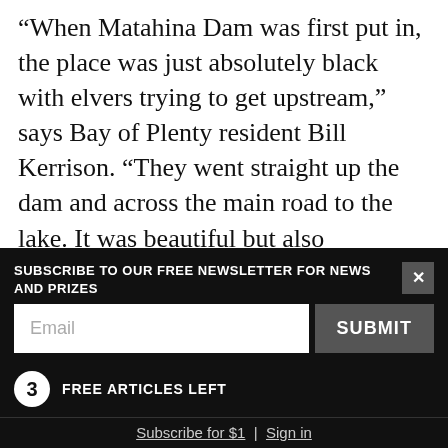“When Matahina Dam was first put in, the place was just absolutely black with elvers trying to get upstream,” says Bay of Plenty resident Bill Kerrison. “They went straight up the dam and across the main road to the lake. It was beautiful but also devastating to watch, because as soon as it got sunny they dried out and died.”
A fish passage was put in, but like at many other dams around the country, it never worked. “At the start, the power company just didn’t put any effort
SUBSCRIBE TO OUR FREE NEWSLETTER FOR NEWS AND PRIZES
Email
SUBMIT
3 FREE ARTICLES LEFT
Subscribe for $1 | Sign in